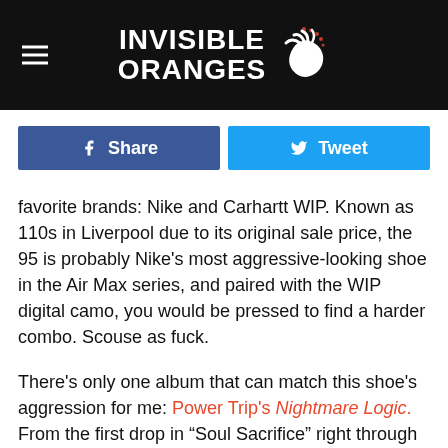INVISIBLE ORANGES
[Figure (other): Facebook Share button and Twitter Tweet button side by side]
favorite brands: Nike and Carhartt WIP. Known as 110s in Liverpool due to its original sale price, the 95 is probably Nike's most aggressive-looking shoe in the Air Max series, and paired with the WIP digital camo, you would be pressed to find a harder combo. Scouse as fuck.
There's only one album that can match this shoe's aggression for me: Power Trip's Nightmare Logic. From the first drop in “Soul Sacrifice” right through to “Crucifixation,” it's unrelenting, and it's been a firm favorite of mine since its release in 2017.